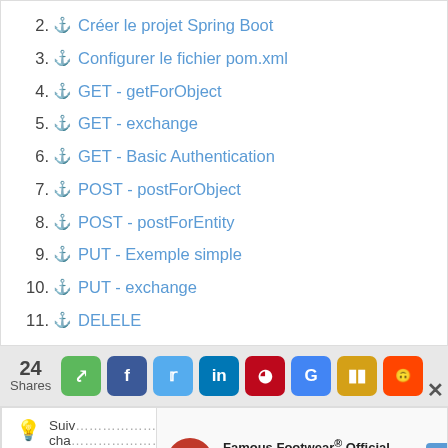2. Créer le projet Spring Boot
3. Configurer le fichier pom.xml
4. GET - getForObject
5. GET - exchange
6. GET - Basic Authentication
7. POST - postForObject
8. POST - postForEntity
9. PUT - Exemple simple
10. PUT - exchange
11. DELELE
[Figure (screenshot): Social share bar with 24 shares and buttons for share, Facebook, Twitter, LinkedIn, Pinterest, Google, YouTube, Reddit]
💡 Suivre... nous ... chaqu... (partially obscured by ad overlay)
[Figure (screenshot): Famous Footwear Official Site ad overlay with logo, title, subtitle 'Famous Footwear Outlet' and arrow]
1- Ob... (partially obscured, with play and skip icons)